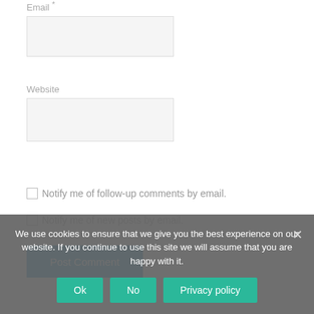Email *
[Figure (other): Email input field (empty text box)]
Website
[Figure (other): Website input field (empty text box)]
Notify me of follow-up comments by email.
Notify me of new posts by email.
[Figure (other): Post Comment button (blue)]
We use cookies to ensure that we give you the best experience on our website. If you continue to use this site we will assume that you are happy with it.
Ok
No
Privacy policy